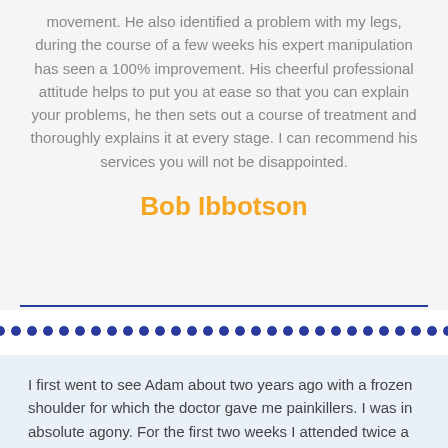movement. He also identified a problem with my legs, during the course of a few weeks his expert manipulation has seen a 100% improvement. His cheerful professional attitude helps to put you at ease so that you can explain your problems, he then sets out a course of treatment and thoroughly explains it at every stage. I can recommend his services you will not be disappointed.
Bob Ibbotson
I first went to see Adam about two years ago with a frozen shoulder for which the doctor gave me painkillers. I was in absolute agony. For the first two weeks I attended twice a week for treatment from Adam and had great reduction in